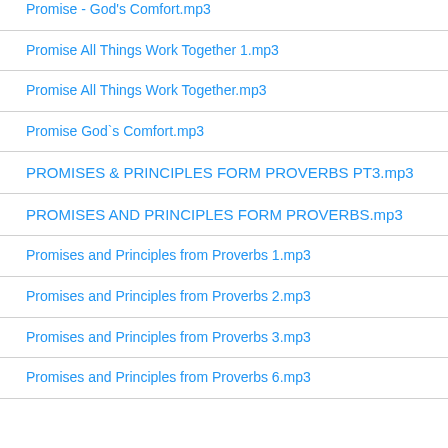Promise - God's Comfort.mp3
Promise All Things Work Together 1.mp3
Promise All Things Work Together.mp3
Promise God`s Comfort.mp3
PROMISES & PRINCIPLES FORM PROVERBS PT3.mp3
PROMISES AND PRINCIPLES FORM PROVERBS.mp3
Promises and Principles from Proverbs 1.mp3
Promises and Principles from Proverbs 2.mp3
Promises and Principles from Proverbs 3.mp3
Promises and Principles from Proverbs 6.mp3